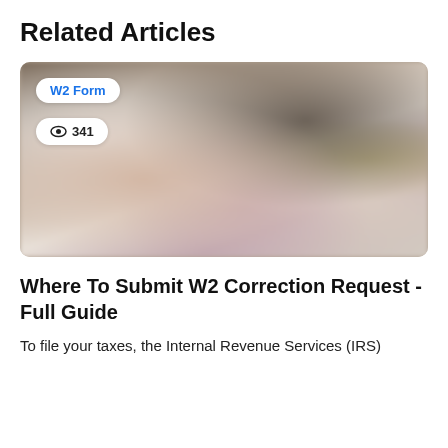Related Articles
[Figure (photo): Blurred photograph used as article thumbnail image for a W2 form related article. Contains overlaid badge labels: 'W2 Form' and a view count of 341.]
Where To Submit W2 Correction Request - Full Guide
To file your taxes, the Internal Revenue Services (IRS) requires that you use a W2 form. Th...